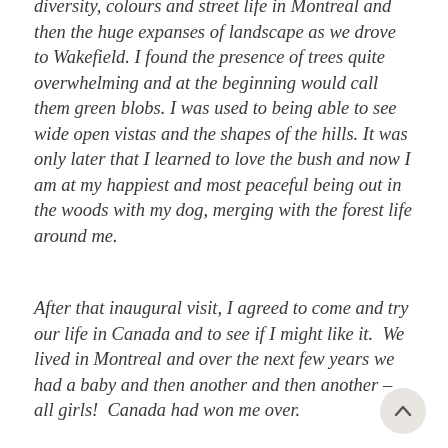diversity, colours and street life in Montreal and then the huge expanses of landscape as we drove to Wakefield. I found the presence of trees quite overwhelming and at the beginning would call them green blobs. I was used to being able to see wide open vistas and the shapes of the hills. It was only later that I learned to love the bush and now I am at my happiest and most peaceful being out in the woods with my dog, merging with the forest life around me.
After that inaugural visit, I agreed to come and try our life in Canada and to see if I might like it. We lived in Montreal and over the next few years we had a baby and then another and then another – all girls! Canada had won me over.